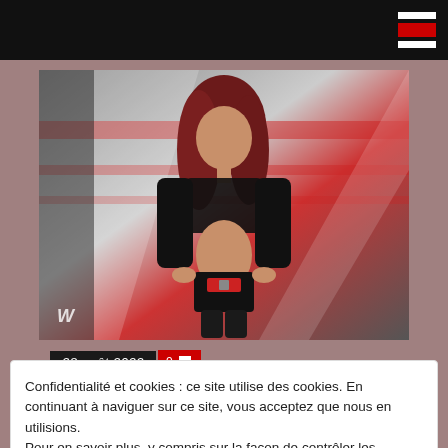Navigation header with hamburger menu icon
[Figure (photo): WWE Diva (Victoria/Lisa Marie Varon) posing in front of a WWE Raw branded background. She has long dark red/brown wavy hair, wearing a black mesh long-sleeve top, black bikini bottom with a red belt buckle.]
28 août 2022  0 💬
Confidentialité et cookies : ce site utilise des cookies. En continuant à naviguer sur ce site, vous acceptez que nous en utilisions. Pour en savoir plus, y compris sur la façon de contrôler les cookies, reportez-vous à ce qui suit : Politique relative aux cookies
Fermer et accepter
Victoria a récemment évoqué la possibilité de